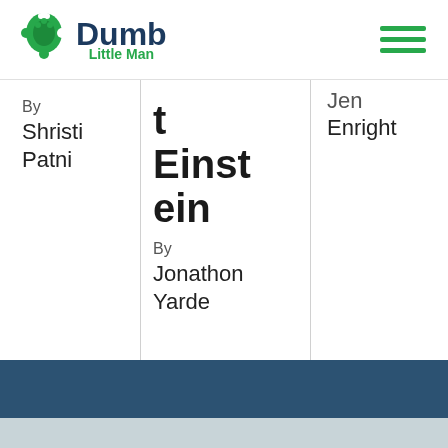Dumb Little Man
By
Shristi Patni
Einstein
By
Jonathon Yarde
Jen
Enright